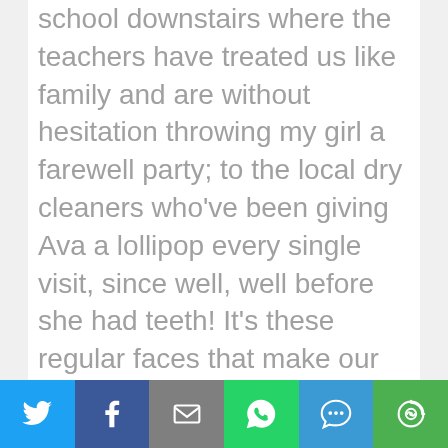school downstairs where the teachers have treated us like family and are without hesitation throwing my girl a farewell party; to the local dry cleaners who've been giving Ava a lollipop every single visit, since well, well before she had teeth! It's these regular faces that make our world go round. There's also the W hotel's warm and generous staff, who've constantly showered Ava with love, attention and unexpected gifts of kindness; the Starbucks staff who make my much-required Mint Mocha before I've even hit the counter and the ladies who've been scoping out a seat for us in the crowded coffee shop, since Ava was barely a week old..... there were the
[Figure (infographic): Social sharing bar with six buttons: Twitter (blue), Facebook (dark blue), Email (gray), WhatsApp (green), SMS (blue), More (green)]